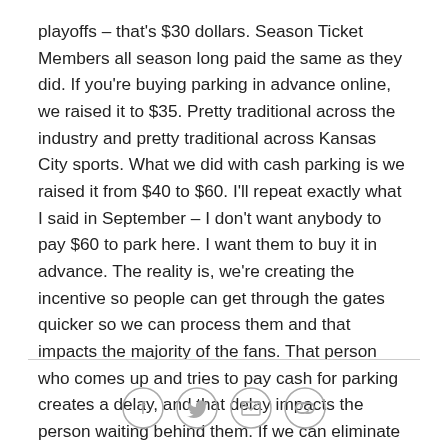playoffs – that's $30 dollars. Season Ticket Members all season long paid the same as they did. If you're buying parking in advance online, we raised it to $35. Pretty traditional across the industry and pretty traditional across Kansas City sports. What we did with cash parking is we raised it from $40 to $60. I'll repeat exactly what I said in September – I don't want anybody to pay $60 to park here. I want them to buy it in advance. The reality is, we're creating the incentive so people can get through the gates quicker so we can process them and that impacts the majority of the fans. That person who comes up and tries to pay cash for parking creates a delay, and that delay impacts the person waiting behind them. If we can eliminate that through passes we're going to incentivize our fans to do that."
[Figure (other): Social sharing icons: Facebook, Twitter, Email, Link]